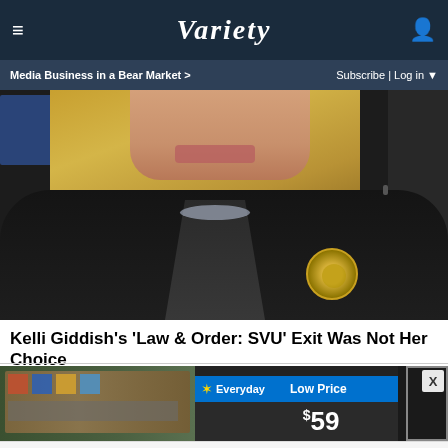Variety — Media Business in a Bear Market > | Subscribe | Log in
[Figure (photo): Photo of Kelli Giddish in character as a detective, wearing a dark NYPD jacket with badge, blonde hair, looking serious.]
Kelli Giddish's 'Law & Order: SVU' Exit Was Not Her Choice
[Figure (photo): Advertisement banner showing Walmart store shelf with low price signage showing $59 price, partially visible.]
[Figure (infographic): Advertisement for HC salon: logo (yellow box with HC text), text 'View store hours, get directions, or call your salon!' with navigation arrow icon. Ad close controls at bottom.]